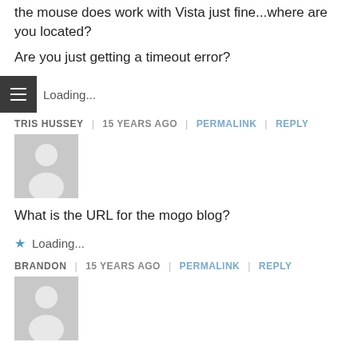the mouse does work with Vista just fine...where are you located?
Are you just getting a timeout error?
Loading...
TRIS HUSSEY | 15 YEARS AGO | PERMALINK | REPLY
[Figure (illustration): User avatar placeholder - grey silhouette]
What is the URL for the mogo blog?
Loading...
BRANDON | 15 YEARS AGO | PERMALINK | REPLY
[Figure (illustration): User avatar placeholder - grey silhouette]
That site seems down.
Loading...
BRANDON | 15 YEARS AGO | PERMALINK | REPLY